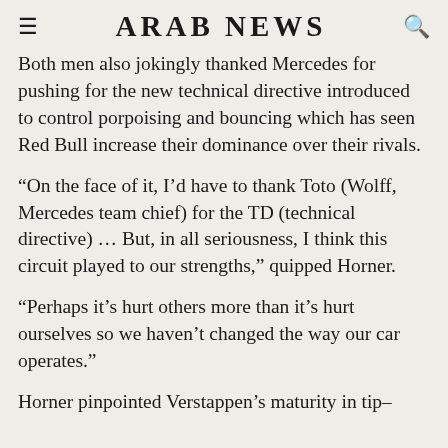ARAB NEWS
Both men also jokingly thanked Mercedes for pushing for the new technical directive introduced to control porpoising and bouncing which has seen Red Bull increase their dominance over their rivals.
“On the face of it, I’d have to thank Toto (Wolff, Mercedes team chief) for the TD (technical directive) … But, in all seriousness, I think this circuit played to our strengths,” quipped Horner.
“Perhaps it’s hurt others more than it’s hurt ourselves so we haven’t changed the way our car operates.”
Horner pinpointed Verstappen’s maturity in tip–